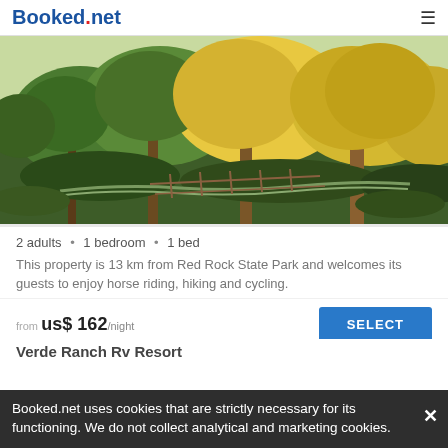Booked.net
[Figure (photo): Outdoor landscape photo showing lush green trees, a small creek or pathway, and natural park scenery]
2 adults · 1 bedroom · 1 bed
This property is 13 km from Red Rock State Park and welcomes its guests to enjoy horse riding, hiking and cycling.
from us$ 162/night
SELECT
Booked.net uses cookies that are strictly necessary for its functioning. We do not collect analytical and marketing cookies.
Verde Ranch Rv Resort